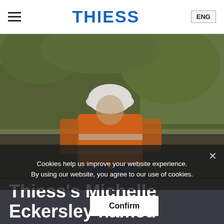THIESS  ENG
[Figure (photo): Person wearing orange high-visibility jacket and white hard hat standing outdoors with green vegetation in background. Image is blurred/defocused.]
Cookies help us improve your website experience. By using our website, you agree to our use of cookies.
Thiess's Michelle Eckersley named